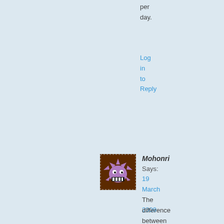per day.
Log in to Reply
[Figure (photo): Avatar image of user Mohonri — a brown background with a purple spiky monster character]
Mohonri Says:
19 March 2009 at 10:07 pm
The difference between the link-farming